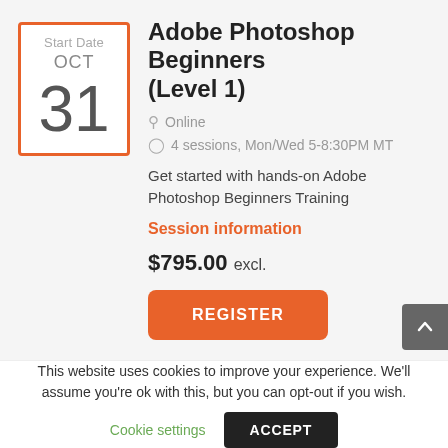Adobe Photoshop Beginners (Level 1)
Start Date OCT 31
Online
4 sessions, Mon/Wed 5-8:30PM MT
Get started with hands-on Adobe Photoshop Beginners Training
Session information
$795.00 excl.
REGISTER
This website uses cookies to improve your experience. We'll assume you're ok with this, but you can opt-out if you wish.
Cookie settings
ACCEPT